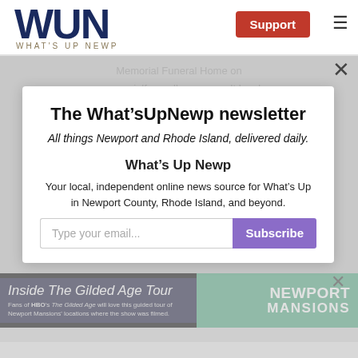[Figure (logo): WUN - What's Up Newp logo with dark blue letters and tan tagline]
The What’sUpNewp newsletter
All things Newport and Rhode Island, delivered daily.
Memorial Funeral Home on www.memorialfuneralhome.com. It has been republished here with permission and at no cost.
What’s Up Newp
More by Memorial Funeral Home
Your local, independent online news source for What’s Up in Newport County, Rhode Island, and beyond.
Type your email...
Subscribe
[Figure (infographic): Inside The Gilded Age Tour banner ad for Newport Mansions]